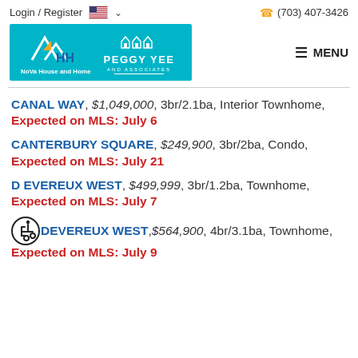Login / Register   (703) 407-3426
[Figure (logo): NoVa House and Home / Peggy Yee and Associates logo on teal background]
CANAL WAY, $1,049,000, 3br/2.1ba, Interior Townhome, Expected on MLS: July 6
CANTERBURY SQUARE, $249,900, 3br/2ba, Condo, Expected on MLS: July 21
D EVEREUX WEST, $499,999, 3br/1.2ba, Townhome, Expected on MLS: July 7
D EVEREUX WEST, $564,900, 4br/3.1ba, Townhome, Expected on MLS: July 9